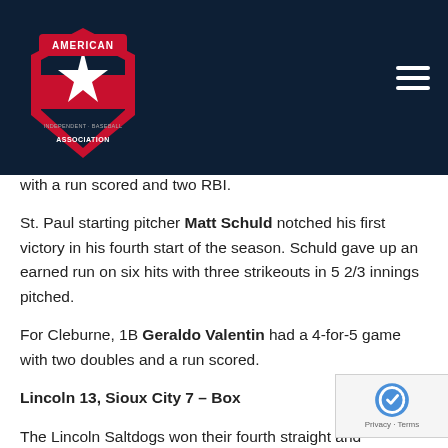[Figure (logo): American Association baseball league logo — red shield with white star on navy background]
with a run scored and two RBI.
St. Paul starting pitcher Matt Schuld notched his first victory in his fourth start of the season. Schuld gave up an earned run on six hits with three strikeouts in 5 2/3 innings pitched.
For Cleburne, 1B Geraldo Valentin had a 4-for-5 game with two doubles and a run scored.
Lincoln 13, Sioux City 7 – Box
The Lincoln Saltdogs won their fourth straight and completed the sweep of Sioux City as they beat the Explorers by the score of 13-7. Lincoln pounded out 15 hits in the contest with eight of the nine batters